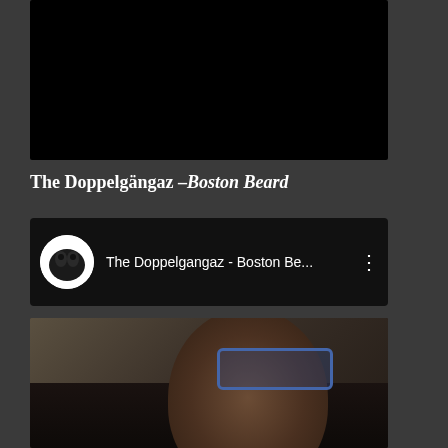[Figure (screenshot): Black video player area at top]
The Doppelgängaz –Boston Beard
[Figure (screenshot): YouTube card showing 'The Doppelgangaz - Boston Be...' with channel avatar icon and three-dot menu]
[Figure (photo): Photo of a person with glasses and beard, partially visible]